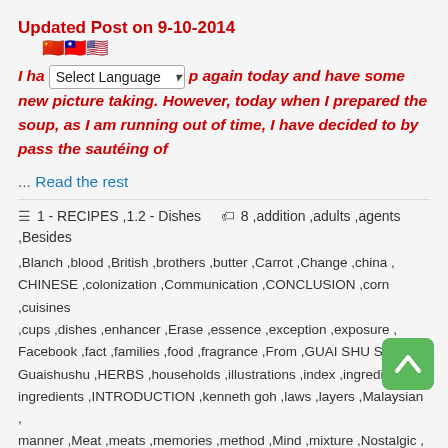Updated Post on 9-10-2014
[Figure (illustration): Three flag emoji icons: China, Taiwan, United States]
I have prepared this soup again today and have some new picture taking. However, today when I prepared the soup, as I am running out of time, I have decided to by pass the sautéing of
... Read the rest
1 - RECIPES , 1.2 - Dishes
8 ,addition ,adults ,agents ,Besides ,Blanch ,blood ,British ,brothers ,butter ,Carrot ,Change ,china , CHINESE ,colonization ,Communication ,CONCLUSION ,corn ,cuisines ,cups ,dishes ,enhancer ,Erase ,essence ,exception ,exposure , Facebook ,fact ,families ,food ,fragrance ,From ,GUAI SHU SHU , Guaishushu ,HERBS ,households ,illustrations ,index ,ingredient , ingredients ,INTRODUCTION ,kenneth goh ,laws ,layers ,Malaysian , manner ,Meat ,meats ,memories ,method ,Mind ,mixture ,Nostalgic , Note ,Once ,Onion ,onions ,opinion ,Oriental ,origin ,origins ,Page , pork ,postaday ,potato ,potatoes ,preparation ,product ,purposes , readers ,recipe ,Restaurant ,rice ,sarawak ,Sauce ,Seasonings , Shark ,Singaporean ,soup ,soups ,starch ,STEPS ,Stir ,Style ,taro , texture ,Thanks ,Type ,from ,UNIQUE ,administration ,notable